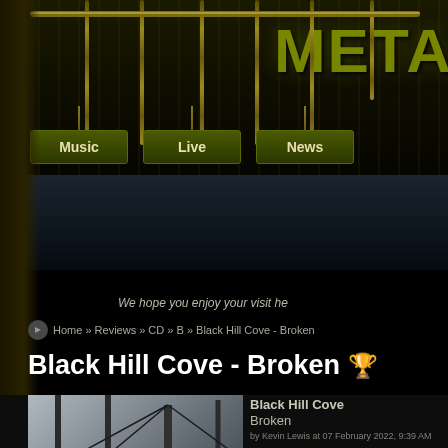[Figure (screenshot): Metal website header with chain-suspended navigation signs (Music, Live, News) and 'META' logo text on dark textured background]
FRONT PAGE
We hope you enjoy your visit he
Home » Reviews » CD » B » Black Hill Cove - Broken
Black Hill Cove - Broken 🏆
Black Hill Cove
Broken
by Kevin Lewis at 07 February 2022, 9:39 AM
BLACK HILL COVE is a Thrash Me... attitude and some nice, calming brut... happened during the pandemic like ca...